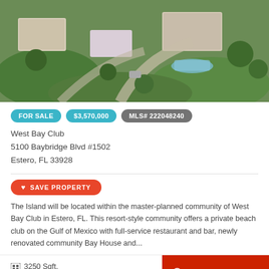[Figure (photo): Aerial view of West Bay Club luxury residential community with villas, pool, and landscaped grounds]
FOR SALE  $3,570,000  MLS# 222048240
West Bay Club
5100 Baybridge Blvd #1502
Estero, FL 33928
SAVE PROPERTY
The Island will be located within the master-planned community of West Bay Club in Estero, FL. This resort-style community offers a private beach club on the Gulf of Mexico with full-service restaurant and bar, newly renovated community Bay House and...
3250 Sqft,
4 Bed, 4 Bath
CHAT WITH AGENT